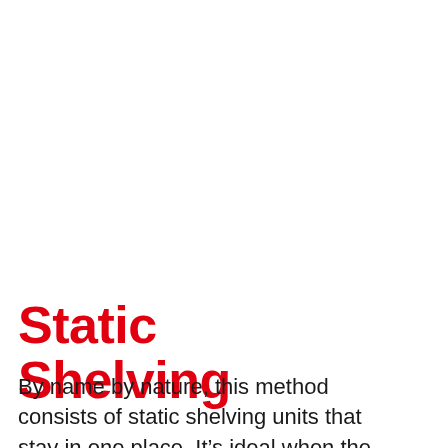Static Shelving
By name by nature, this method consists of static shelving units that stay in one place. It’s ideal when the stock is picked by hand, for easy access, thus making it perfect when storing lighter products such as clothing or small